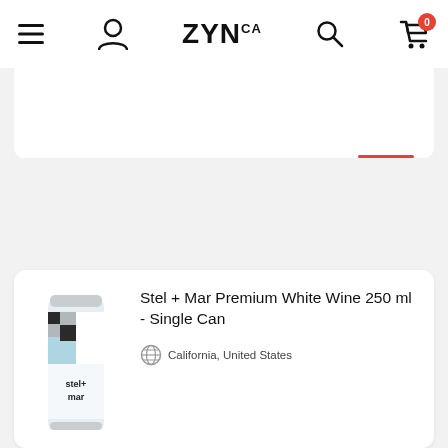ZYN.CA navigation bar with menu, user, logo, search, and cart icons
[Figure (screenshot): ZYN.CA e-commerce website header navigation bar with hamburger menu icon, user account icon, ZYN.CA logo in bold black text, search icon, and shopping cart icon with red badge showing 0 items]
Stel + Mar Premium White Wine 250 ml - Single Can
California, United States
[Figure (photo): Stel + Mar wine can product image showing a slim aluminum can with geometric black, grey and light blue design pattern and 'stel + mar' text on the label]